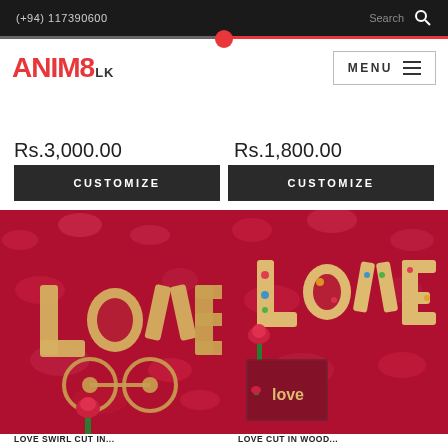(+94) 117390600   Search
[Figure (logo): ANIM8.LK logo in red with black LK suffix]
MENU
Rs.1,800.00
Rs.3,000.00
CUSTOMIZE
CUSTOMIZE
[Figure (photo): Wooden LOVE swirl cutout with red rose on glittery red background]
[Figure (photo): Wooden LOVE cutout with colorful paint and red rose on glittery red background, with thumbnail inset]
LOVE SWIRL CUT IN...
LOVE CUT IN WOOD...